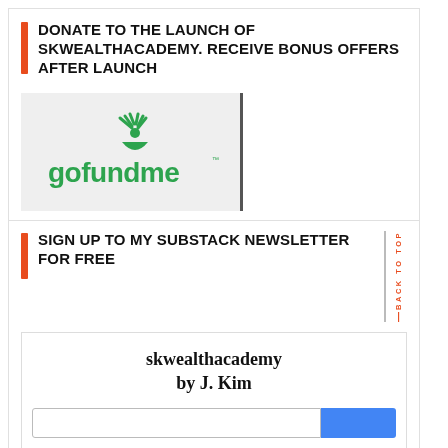DONATE TO THE LAUNCH OF SKWEALTHACADEMY. RECEIVE BONUS OFFERS AFTER LAUNCH
[Figure (logo): GoFundMe logo on light gray background with vertical black border on right side]
SIGN UP TO MY SUBSTACK NEWSLETTER FOR FREE
[Figure (screenshot): Substack newsletter signup widget showing 'skwealthacademy by J. Kim' with email input and subscribe button]